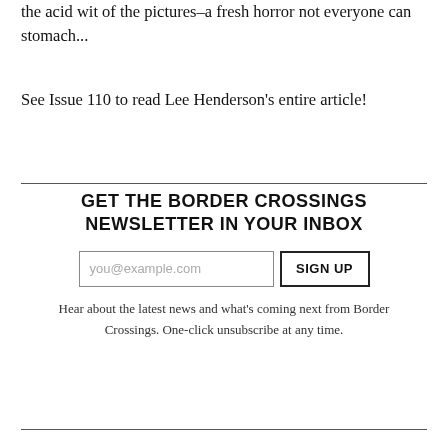the acid wit of the pictures–a fresh horror not everyone can stomach...
See Issue 110 to read Lee Henderson's entire article!
GET THE BORDER CROSSINGS NEWSLETTER IN YOUR INBOX
Hear about the latest news and what's coming next from Border Crossings. One-click unsubscribe at any time.